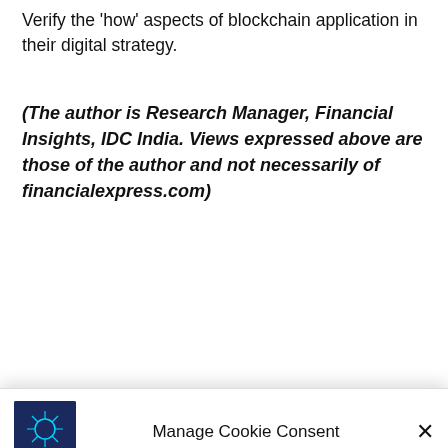Verify the 'how' aspects of blockchain application in their digital strategy.
(The author is Research Manager, Financial Insights, IDC India. Views expressed above are those of the author and not necessarily of financialexpress.com)
Manage Cookie Consent
To provide the best experiences, we use technologies like cookies to store and/or access device information. Consenting to these technologies will allow us to process data such as browsing behavior or unique IDs on this site. Not consenting or withdrawing consent, may adversely affect certain features and functions.
Accept